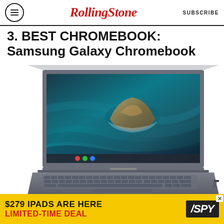RollingStone SUBSCRIBE
3. BEST CHROMEBOOK: Samsung Galaxy Chromebook
[Figure (photo): Samsung Galaxy Chromebook laptop open showing a teal ocean island wallpaper on the display, silver/gray body with keyboard visible, angled product shot.]
[Figure (infographic): Advertisement banner: '$279 IPADS ARE HERE LIMITED-TIME DEAL' with SPY logo on yellow background.]